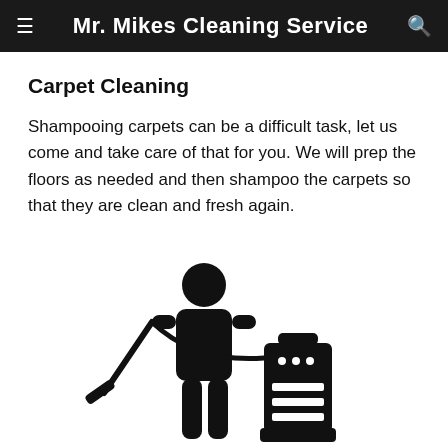Mr. Mikes Cleaning Service
Carpet Cleaning
Shampooing carpets can be a difficult task, let us come and take care of that for you. We will prep the floors as needed and then shampoo the carpets so that they are clean and fresh again.
[Figure (illustration): Stick figure person holding a carpet cleaning wand/hose, with a carpet cleaning machine beside them]